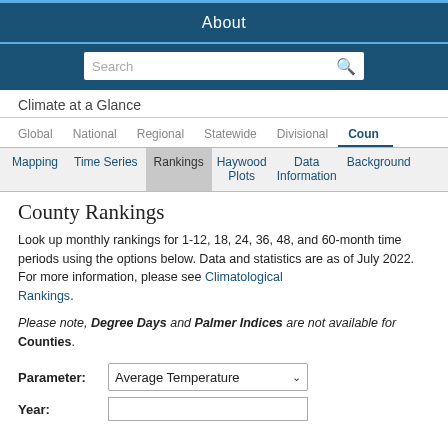About
Search
Climate at a Glance
Global  National  Regional  Statewide  Divisional  County
Mapping  Time Series  Rankings  Haywood Plots  Data Information  Background
County Rankings
Look up monthly rankings for 1-12, 18, 24, 36, 48, and 60-month time periods using the options below. Data and statistics are as of July 2022. For more information, please see Climatological Rankings.
Please note, Degree Days and Palmer Indices are not available for Counties.
Parameter: Average Temperature
Year: